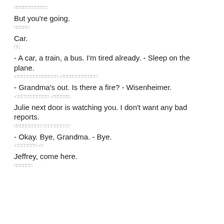□□□□□□□□□□□
But you're going.
□□□□□
Car.
□□
- A car, a train, a bus. I'm tired already. - Sleep on the plane.
-□□□□□□□□□□□□□□ -□□□□□□□□□□□□
- Grandma's out. Is there a fire? - Wisenheimer.
-□□□□□□□□□□□ -□□□□□□
Julie next door is watching you. I don't want any bad reports.
□□□□□□□□□ □□□□□□□□□
- Okay. Bye, Grandma. - Bye.
-□□□□□□□ -□
Jeffrey, come here.
□□□□□□